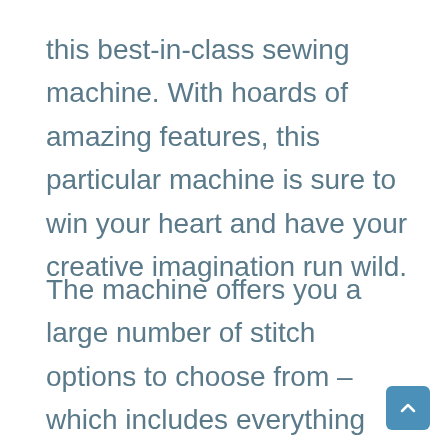this best-in-class sewing machine. With hoards of amazing features, this particular machine is sure to win your heart and have your creative imagination run wild.
The machine offers you a large number of stitch options to choose from – which includes everything from basic, stretch,